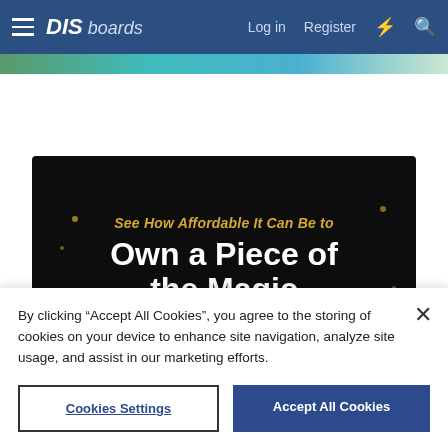DIS boards — Log in  Register
[Figure (screenshot): DISboards website navigation bar with hamburger menu, DIS boards logo, Log in, Register, lightning bolt icon, and search icon on dark blue background]
[Figure (infographic): Advertisement banner with dark background reading 'See How Affordable It Can Be to Own a Piece of the Magic' with a 'Get a DVC Financing Quote' button]
By clicking “Accept All Cookies”, you agree to the storing of cookies on your device to enhance site navigation, analyze site usage, and assist in our marketing efforts.
Cookies Settings
Accept All Cookies